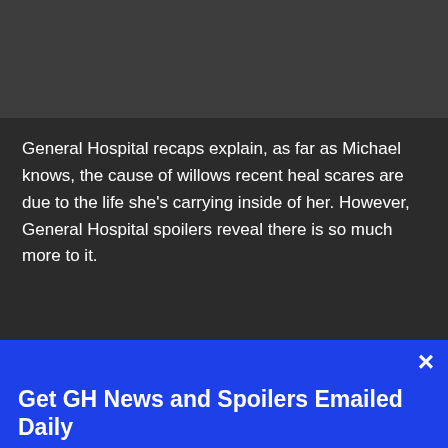General Hospital recaps explain, as far as Michael knows, the cause of willows recent heal scares are due to the life she's carrying inside of her. However, General Hospital spoilers reveal there is so much more to it.
Get GH News and Spoilers Emailed Daily
Sign up now
Email
Sign up